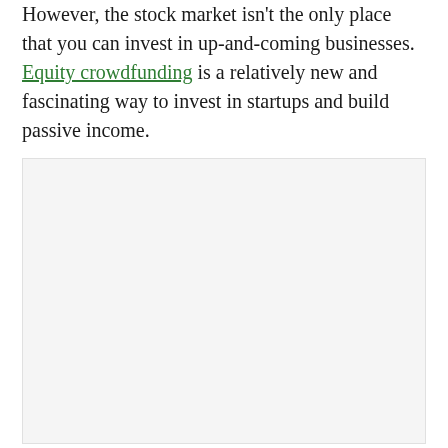However, the stock market isn't the only place that you can invest in up-and-coming businesses. Equity crowdfunding is a relatively new and fascinating way to invest in startups and build passive income.
[Figure (other): A large light gray placeholder image box, mostly empty with very faint indistinct content near center.]